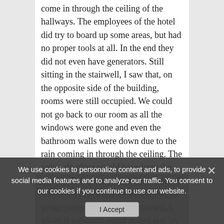come in through the ceiling of the hallways. The employees of the hotel did try to board up some areas, but had no proper tools at all. In the end they did not even have generators. Still sitting in the stairwell, I saw that, on the opposite side of the building, rooms were still occupied. We could not go back to our room as all the windows were gone and even the bathroom walls were down due to the rain coming in through the ceiling. The only safe place would have been the shower. Being desperate, I knocked on one of the doors and a whole group of young people from Italy answered. I asked if we could come in and just lay on the floor for a while and they invited us in and gave us two
the wait if you continue to use our website. ey gave us some cookies also. In the morning, as we left their room, we noticed that some of the rooms were boarded up...
We use cookies to personalize content and ads, to provide social media features and to analyze our traffic. You consent to our cookies if you continue to use our website.